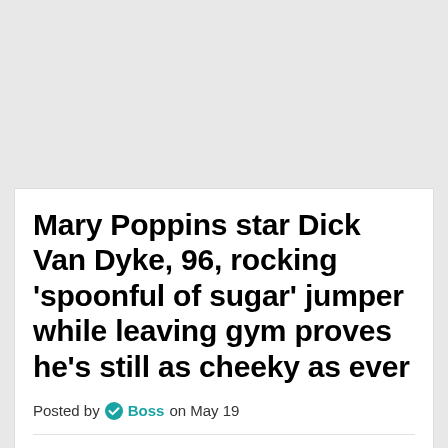Mary Poppins star Dick Van Dyke, 96, rocking 'spoonful of sugar' jumper while leaving gym proves he's still as cheeky as ever
Posted by Boss on May 19